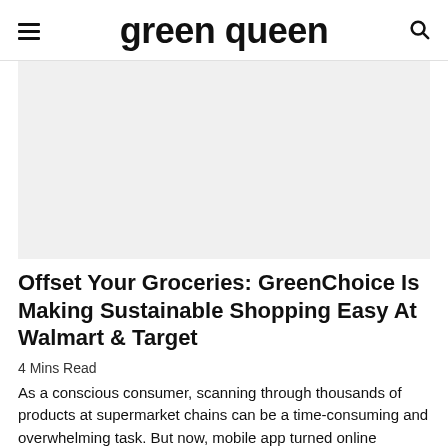green queen
[Figure (photo): Large hero image placeholder area with light grey background, likely an article featured image]
Offset Your Groceries: GreenChoice Is Making Sustainable Shopping Easy At Walmart & Target
4 Mins Read
As a conscious consumer, scanning through thousands of products at supermarket chains can be a time-consuming and overwhelming task. But now, mobile app turned online marketplace GreenChoice is telling the frustrated sustainable shopper “we hear you” and is simplifying the entire process. The result: the platform